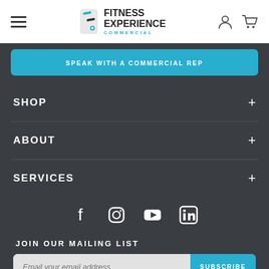Fitness Experience Commercial — navigation header with hamburger menu, logo, user and cart icons
SPEAK WITH A COMMERCIAL REP
SHOP
ABOUT
SERVICES
[Figure (infographic): Social media icons: Facebook, Instagram, YouTube, LinkedIn]
JOIN OUR MAILING LIST
Email your email address SUBSCRIBE